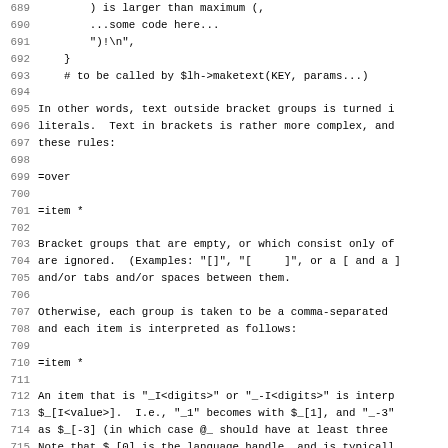Code and documentation lines 689-721 from a Perl/POD source file explaining maketext bracket group parsing rules.